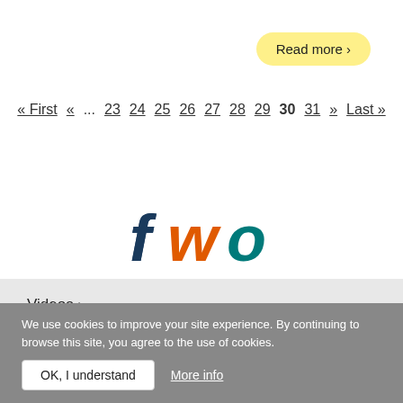Read more ›
« First  «  ...  23  24  25  26  27  28  29  30  31  >>  Last »
[Figure (logo): FWO logo with colorful letters f, w, o]
Videos ›
About this project ›
Partners ›
Contact ›
We use cookies to improve your site experience. By continuing to browse this site, you agree to the use of cookies.
OK, I understand    More info